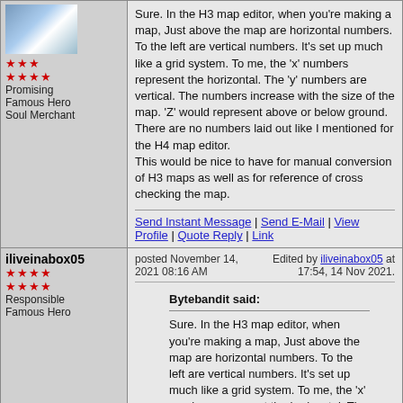Sure. In the H3 map editor, when you're making a map, Just above the map are horizontal numbers. To the left are vertical numbers. It's set up much like a grid system. To me, the 'x' numbers represent the horizontal. The 'y' numbers are vertical. The numbers increase with the size of the map. 'Z' would represent above or below ground.
There are no numbers laid out like I mentioned for the H4 map editor.
This would be nice to have for manual conversion of H3 maps as well as for reference of cross checking the map.
Send Instant Message | Send E-Mail | View Profile | Quote Reply | Link
iliveinabox05
posted November 14, 2021 08:16 AM
Edited by iliveinabox05 at 17:54, 14 Nov 2021.
Responsible Famous Hero
Bytebandit said:
Sure. In the H3 map editor, when you're making a map, Just above the map are horizontal numbers. To the left are vertical numbers. It's set up much like a grid system. To me, the 'x' numbers represent the horizontal. The 'y' numbers are vertical. The numbers increase with the size of the map. 'Z' would represent above or below ground.